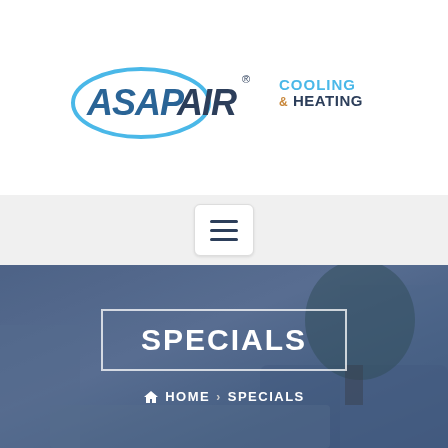[Figure (logo): ASAP AIR Cooling & Heating logo with oval swoosh graphic and blue/dark text]
[Figure (other): Hamburger menu button (three horizontal lines) on light gray navigation bar]
SPECIALS
HOME > SPECIALS